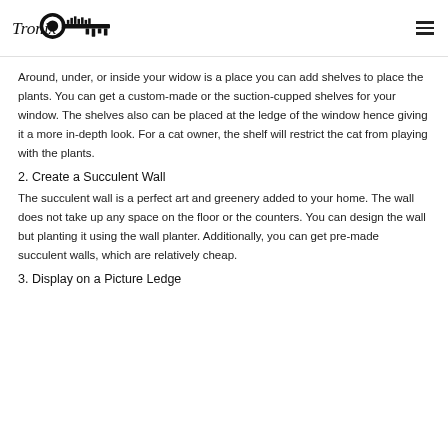Tronix [logo with key icon] [hamburger menu]
Around, under, or inside your widow is a place you can add shelves to place the plants. You can get a custom-made or the suction-cupped shelves for your window. The shelves also can be placed at the ledge of the window hence giving it a more in-depth look. For a cat owner, the shelf will restrict the cat from playing with the plants.
2. Create a Succulent Wall
The succulent wall is a perfect art and greenery added to your home. The wall does not take up any space on the floor or the counters. You can design the wall but planting it using the wall planter. Additionally, you can get pre-made succulent walls, which are relatively cheap.
3. Display on a Picture Ledge